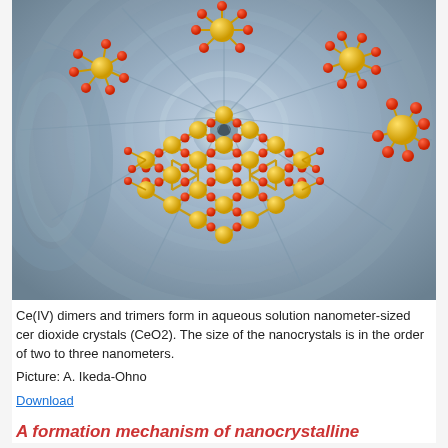[Figure (illustration): 3D scientific illustration showing Ce(IV) dimers and trimers — small molecular cluster models with yellow cerium atoms and red oxygen atoms connected by bonds — floating above a larger nanocrystal lattice structure of CeO2, set against a blue-grey sculptural spiral background.]
Ce(IV) dimers and trimers form in aqueous solution nanometer-sized cer dioxide crystals (CeO2). The size of the nanocrystals is in the order of two to three nanometers.
Picture: A. Ikeda-Ohno
Download
A formation mechanism of nanocrystalline